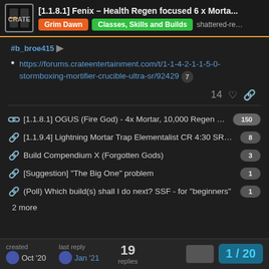[1.1.8.1] Fenix – Health Regen focused 6 x Morta... | Grim Dawn | Classes, Skills and Builds | shattered-re...
#b_broe415
https://forums.crateentertainment.com/t/1-1-4-2-1-1-5-0-stormboxing-mortifier-crucible-ultra-sr/92429 [7]
14 likes, link
[1.1.8.1] OGUS (Fire God) - 4x Mortar, 10,000 Regen ... [150]
[1.1.9.4] Lightning Mortar Trap Elementalist CR 4:30 SR... [8]
Build Compendium X (Forgotten Gods) [3]
[Suggestion] "The Big One" problem [1]
(Poll) Which build(s) shall I do next? SSF - for "beginners" [1]
2 more
created Oct '20 | last reply Jan '21 | 19 replies | 1 / 20